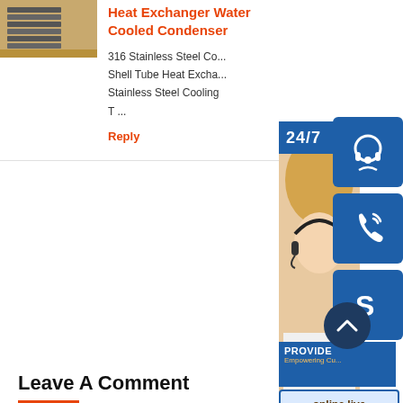[Figure (photo): Thumbnail photo of heat exchanger / industrial equipment stacked metal fins on a warehouse floor]
Heat Exchanger Water Cooled Condenser
316 Stainless Steel Co... Shell Tube Heat Excha... Stainless Steel Cooling T ...
Reply
[Figure (photo): Customer service widget overlay: 24/7 banner, woman with headset photo, headphone icon button, phone icon button, Skype icon button, PROVIDE / Empowering Customers banner, online live button, scroll-to-top circle]
Leave A Comment